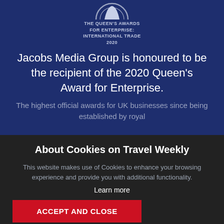[Figure (logo): The Queen's Awards for Enterprise: International Trade 2020 emblem with partial circular logo at top]
THE QUEEN'S AWARDS FOR ENTERPRISE: INTERNATIONAL TRADE 2020
Jacobs Media Group is honoured to be the recipient of the 2020 Queen's Award for Enterprise.
The highest official awards for UK businesses since being established by royal
About Cookies on Travel Weekly
This website makes use of Cookies to enhance your browsing experience and provide you with additional functionality.
Learn more
ACCEPT AND CLOSE